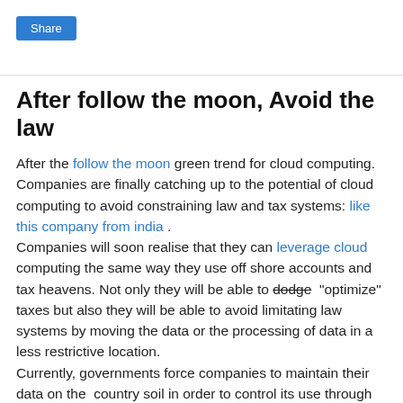Share
After follow the moon, Avoid the law
After the follow the moon green trend for cloud computing. Companies are finally catching up to the potential of cloud computing to avoid constraining law and tax systems: like this company from india .
Companies will soon realise that they can leverage cloud computing the same way they use off shore accounts and tax heavens. Not only they will be able to dodge "optimize" taxes but also they will be able to avoid limitating law systems by moving the data or the processing of data in a less restrictive location. Currently, governments force companies to maintain their data on the  country soil in order to control its use through legal means. However, it is really easy to move compute loads with the cloud to where the legal and regulatory environment is more favourable, while  leaving  the  data